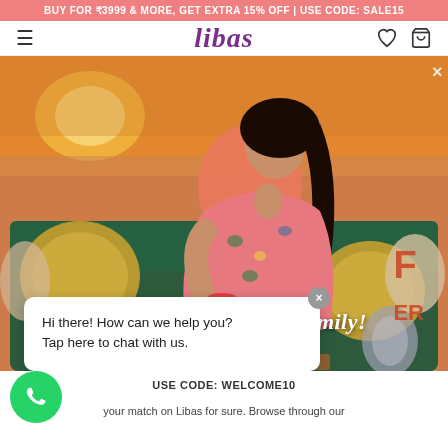BUY FOR ₹3999 & MORE, GET EXTRA 15% OFF | USE CODE: SALE15
[Figure (logo): Libas brand logo in purple italic serif font]
[Figure (photo): Fashion model wearing a pink floral printed kurti set, seated on a dark green sofa with yellow and beige cushions, warm sunset background with indoor decor]
Welcome to the Libas Family!
Hi there! How can we help you? Tap here to chat with us.
USE CODE: WELCOME10
your match on Libas for sure. Browse through our